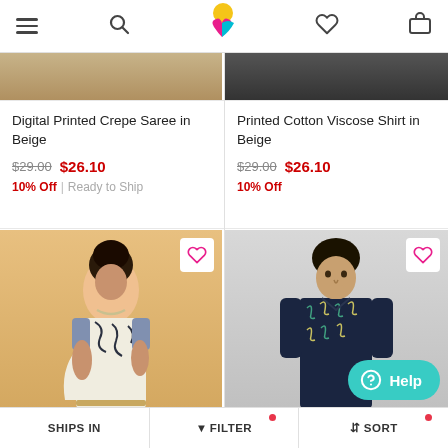[Figure (screenshot): E-commerce app navigation bar with hamburger menu, search icon, colorful bird logo, heart/wishlist icon, and shopping bag icon]
Digital Printed Crepe Saree in Beige
$29.00 $26.10
10% Off | Ready to Ship
Printed Cotton Viscose Shirt in Beige
$29.00 $26.10
10% Off
[Figure (photo): Woman wearing a white and dark blue printed crepe saree on beige background]
[Figure (photo): Man wearing a dark navy floral/leaf printed shirt on grey background]